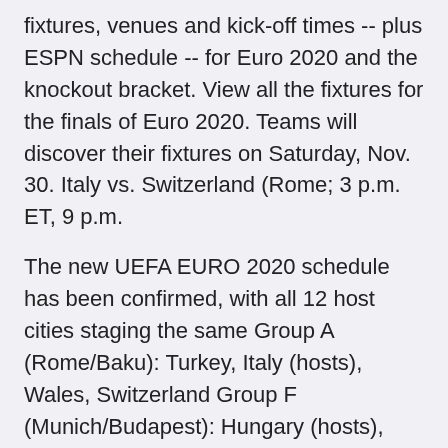fixtures, venues and kick-off times -- plus ESPN schedule -- for Euro 2020 and the knockout bracket. View all the fixtures for the finals of Euro 2020. Teams will discover their fixtures on Saturday, Nov. 30. Italy vs. Switzerland (Rome; 3 p.m. ET, 9 p.m.
The new UEFA EURO 2020 schedule has been confirmed, with all 12 host cities staging the same Group A (Rome/Baku): Turkey, Italy (hosts), Wales, Switzerland Group F (Munich/Budapest): Hungary (hosts), Portugal (holde Here's the full schedule of the group 8pm: France vs Germany (Munich) - ITV 8pm: Italy vs Switzerland (Rome) - ITV a full guide to the Euro 2020 fixtures and   England, Scotland and Wales will all play at Euro 2020 The tournament, originally scheduled to take place from 12 June to 12 July Group